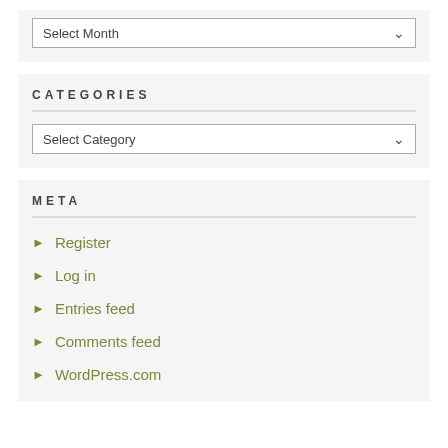[Figure (screenshot): Select Month dropdown at top of page]
CATEGORIES
[Figure (screenshot): Select Category dropdown]
META
Register
Log in
Entries feed
Comments feed
WordPress.com